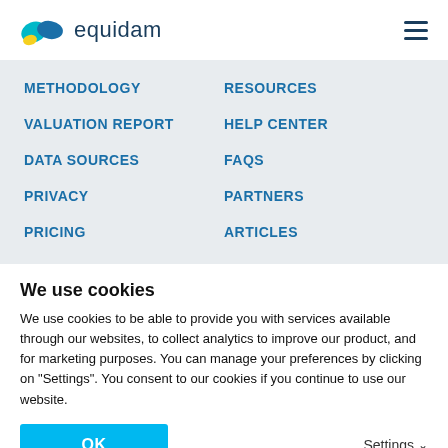equidam
METHODOLOGY
RESOURCES
VALUATION REPORT
HELP CENTER
DATA SOURCES
FAQS
PRIVACY
PARTNERS
PRICING
ARTICLES
We use cookies
We use cookies to be able to provide you with services available through our websites, to collect analytics to improve our product, and for marketing purposes. You can manage your preferences by clicking on "Settings". You consent to our cookies if you continue to use our website.
OK
Settings